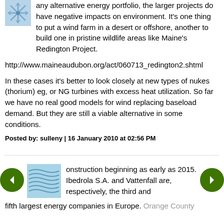[Figure (illustration): User avatar icon - snowflake/leaf pattern in blue tones]
any alternative energy portfolio, the larger projects do have negative impacts on environment. It's one thing to put a wind farm in a desert or offshore, another to build one in pristine wildlife areas like Maine's Redington Project.
http://www.maineaudubon.org/act/060713_redington2.shtml
In these cases it's better to look closely at new types of nukes (thorium) eg, or NG turbines with excess heat utilization. So far we have no real good models for wind replacing baseload demand. But they are still a viable alternative in some conditions.
Posted by: sulleny | 16 January 2010 at 02:56 PM
[Figure (illustration): User avatar icon - wavy lines pattern in blue tones]
onstruction beginning as early as 2015. Ibedrola S.A. and Vattenfall are, respectively, the third and fifth largest energy companies in Europe. Orange County